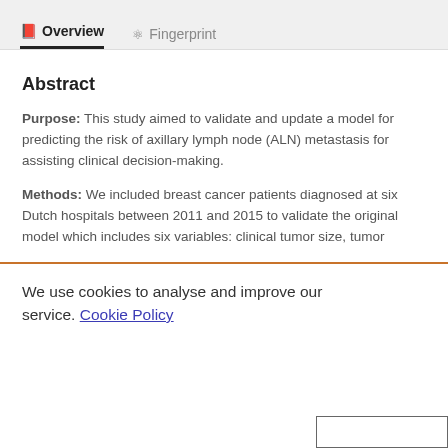Overview   Fingerprint
Abstract
Purpose: This study aimed to validate and update a model for predicting the risk of axillary lymph node (ALN) metastasis for assisting clinical decision-making.
Methods: We included breast cancer patients diagnosed at six Dutch hospitals between 2011 and 2015 to validate the original model which includes six variables: clinical tumor size, tumor
We use cookies to analyse and improve our service. Cookie Policy